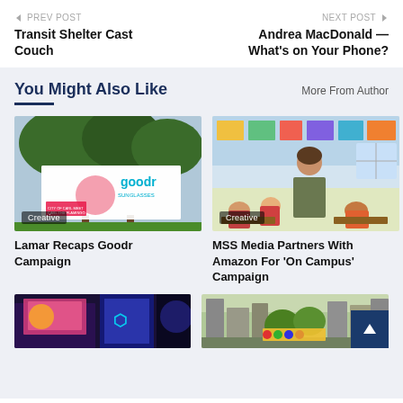← PREV POST   Transit Shelter Cast Couch   |   NEXT POST →   Andrea MacDonald — What's on Your Phone?
You Might Also Like
More From Author
[Figure (photo): Outdoor billboard advertising Goodr Sunglasses with a pink flamingo graphic and trees in the background]
Creative
Lamar Recaps Goodr Campaign
[Figure (photo): Woman standing in a colorful classroom with children in the background]
Creative
MSS Media Partners With Amazon For 'On Campus' Campaign
[Figure (photo): Digital billboard in a city at night]
[Figure (photo): Billboard on a city street with buildings in the background]